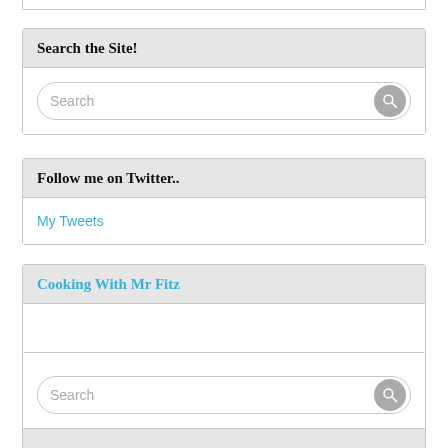Search the Site!
Search
Follow me on Twitter..
My Tweets
Cooking With Mr Fitz
Search